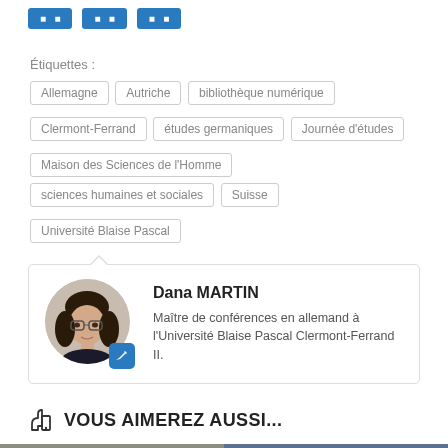[Figure (screenshot): Three blue buttons (social share or navigation buttons) at the top of the page]
Étiquettes :
Allemagne
Autriche
bibliothèque numérique
Clermont-Ferrand
études germaniques
Journée d'études
Maison des Sciences de l'Homme
sciences humaines et sociales
Suisse
Université Blaise Pascal
Dana MARTIN
Maître de conférences en allemand à l'Université Blaise Pascal Clermont-Ferrand II.
VOUS AIMEREZ AUSSI...
[Figure (photo): Two thumbnail images side by side at the bottom of the page]